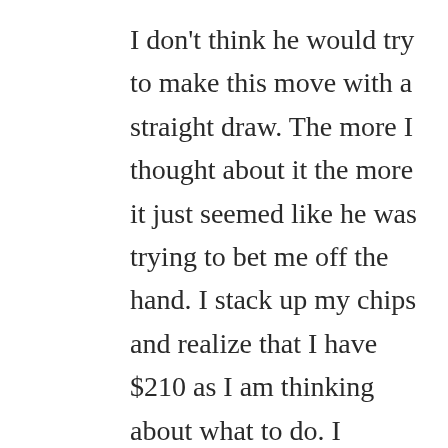I don't think he would try to make this move with a straight draw. The more I thought about it the more it just seemed like he was trying to bet me off the hand. I stack up my chips and realize that I have $210 as I am thinking about what to do. I conclude that he either has pocket threes and just hit quads but more likely has nothing and is just trying to buy the pot. I go all in knowing that he is never folding to another $10. The river card changes nothing, and I table my hand. Our opponent looks over at what I have and has a look of shock and disgust on his face